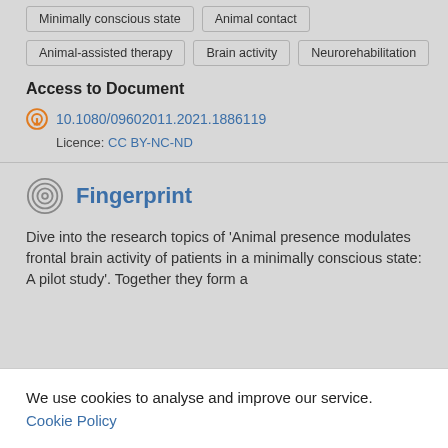Minimally conscious state
Animal contact
Animal-assisted therapy
Brain activity
Neurorehabilitation
Access to Document
10.1080/09602011.2021.1886119
Licence: CC BY-NC-ND
Fingerprint
Dive into the research topics of 'Animal presence modulates frontal brain activity of patients in a minimally conscious state: A pilot study'. Together they form a
We use cookies to analyse and improve our service. Cookie Policy